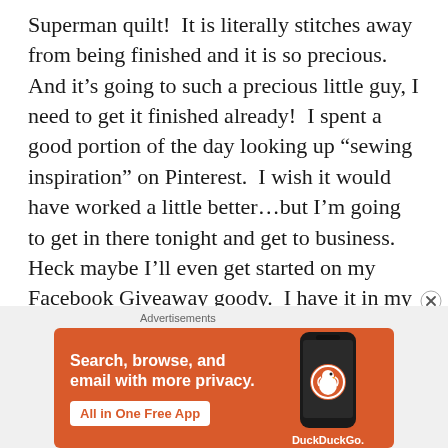Superman quilt!  It is literally stitches away from being finished and it is so precious.  And it’s going to such a precious little guy, I need to get it finished already!  I spent a good portion of the day looking up “sewing inspiration” on Pinterest.  I wish it would have worked a little better…but I’m going to get in there tonight and get to business.  Heck maybe I’ll even get started on my Facebook Giveaway goody.  I have it in my head, I just need to get it going.
[Figure (illustration): DuckDuckGo advertisement banner with orange background. Left side shows bold white text: 'Search, browse, and email with more privacy.' with a white button 'All in One Free App'. Right side shows a stylized dark smartphone with the DuckDuckGo logo (duck icon in an orange circle) and the text 'DuckDuckGo.' below it.]